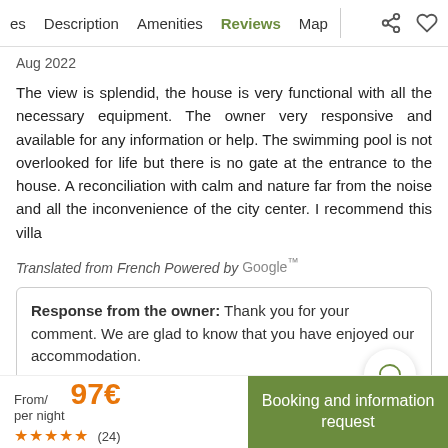es  Description  Amenities  Reviews  Map
Aug 2022
The view is splendid, the house is very functional with all the necessary equipment. The owner very responsive and available for any information or help. The swimming pool is not overlooked for life but there is no gate at the entrance to the house. A reconciliation with calm and nature far from the noise and all the inconvenience of the city center. I recommend this villa
Translated from French Powered by Google™
Response from the owner: Thank you for your comment. We are glad to know that you have enjoyed our accommodation.
10 Great
From/ per night 97€ ★★★★★ (24)
Booking and information request